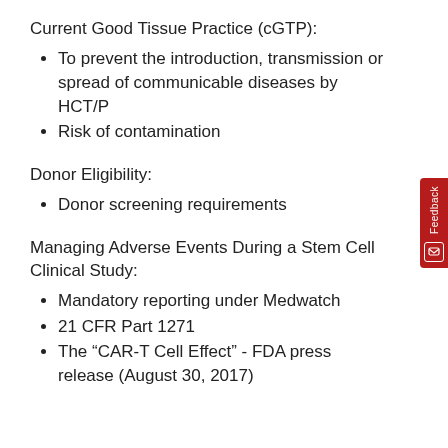Current Good Tissue Practice (cGTP):
To prevent the introduction, transmission or spread of communicable diseases by HCT/P
Risk of contamination
Donor Eligibility:
Donor screening requirements
Managing Adverse Events During a Stem Cell Clinical Study:
Mandatory reporting under Medwatch
21 CFR Part 1271
The “CAR-T Cell Effect” - FDA press release (August 30, 2017)